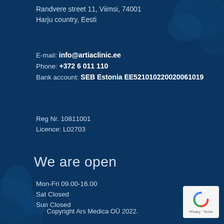Randvere street 11, Viimsi, 74001
Harju country, Eesti
E-mail: info@artiaclinic.ee
Phone: +372 6 011 110
Bank account: SEB Estonia EE521010220020061019
Reg Nr. 10811001
Licence: L02703
We are open
Mon-Fri 09.00-16.00
Sat Closed
Sun Closed
Copyright Ars Medica OÜ 2022.